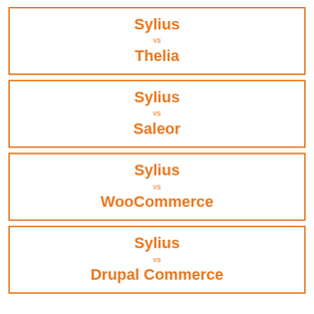Sylius vs Thelia
Sylius vs Saleor
Sylius vs WooCommerce
Sylius vs Drupal Commerce